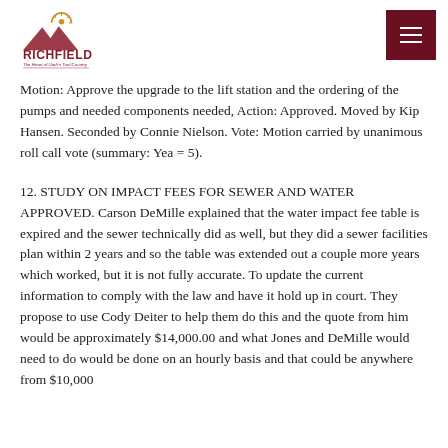[Figure (logo): Richfield city logo with mountain and sun graphic. Text reads RICHFIELD and 'The Heart of Utah's Trail Country']
Motion: Approve the upgrade to the lift station and the ordering of the pumps and needed components needed, Action: Approved. Moved by Kip Hansen. Seconded by Connie Nielson. Vote: Motion carried by unanimous roll call vote (summary: Yea = 5).
12. STUDY ON IMPACT FEES FOR SEWER AND WATER APPROVED. Carson DeMille explained that the water impact fee table is expired and the sewer technically did as well, but they did a sewer facilities plan within 2 years and so the table was extended out a couple more years which worked, but it is not fully accurate. To update the current information to comply with the law and have it hold up in court. They propose to use Cody Deiter to help them do this and the quote from him would be approximately $14,000.00 and what Jones and DeMille would need to do would be done on an hourly basis and that could be anywhere from $10,000